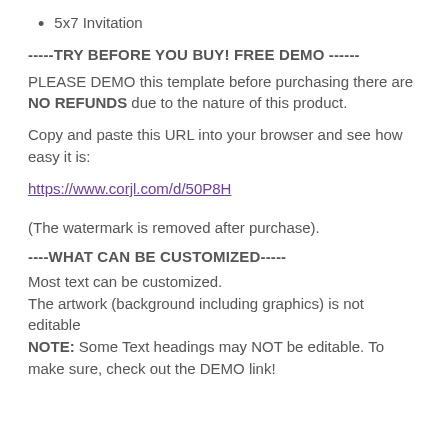5x7 Invitation
-----TRY BEFORE YOU BUY! FREE DEMO ------
PLEASE DEMO this template before purchasing there are NO REFUNDS due to the nature of this product.
Copy and paste this URL into your browser and see how easy it is:
https://www.corjl.com/d/50P8H
(The watermark is removed after purchase).
----WHAT CAN BE CUSTOMIZED-----
Most text can be customized.
The artwork (background including graphics) is not editable
NOTE: Some Text headings may NOT be editable. To make sure, check out the DEMO link!